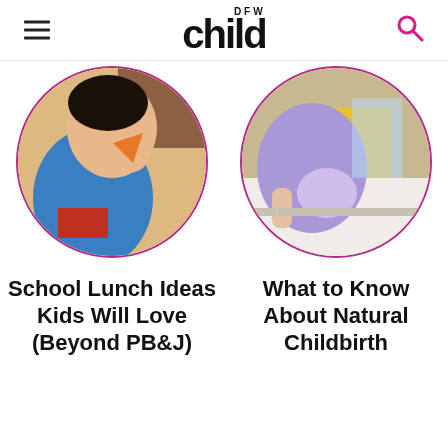DFW Child
[Figure (photo): Child eating pizza, circular cropped photo with pink border]
School Lunch Ideas Kids Will Love (Beyond PB&J)
[Figure (photo): Pregnant woman in hospital bed, circular cropped photo with pink border]
What to Know About Natural Childbirth